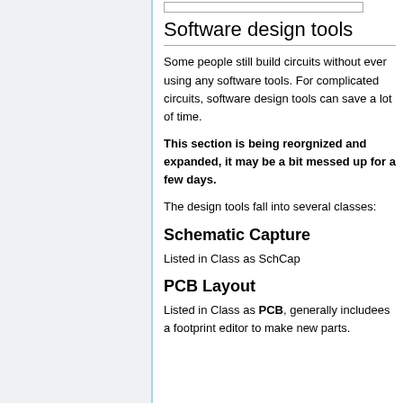Software design tools
Some people still build circuits without ever using any software tools. For complicated circuits, software design tools can save a lot of time.
This section is being reorgnized and expanded, it may be a bit messed up for a few days.
The design tools fall into several classes:
Schematic Capture
Listed in Class as SchCap
PCB Layout
Listed in Class as PCB, generally includees a footprint editor to make new parts.